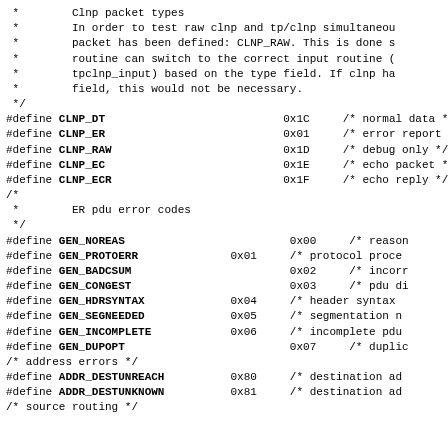*        Clnp packet types
 *        In order to test raw clnp and tp/clnp simultaneous
 *        packet has been defined: CLNP_RAW. This is done s
 *        routine can switch to the correct input routine (
 *        tpclnp_input) based on the type field. If clnp ha
 *        field, this would not be necessary.
 */
#define CLNP_DT                           0x1C     /* normal data */
#define CLNP_ER                           0x01     /* error report */
#define CLNP_RAW                          0x1D     /* debug only */
#define CLNP_EC                           0x1E     /* echo packet */
#define CLNP_ECR                          0x1F     /* echo reply */
/*
 *        ER pdu error codes
 */
#define GEN_NOREAS                         0x00     /* reason
#define GEN_PROTOERR              0x01     /* protocol proce
#define GEN_BADCSUM                        0x02     /* incorr
#define GEN_CONGEST                        0x03     /* pdu d
#define GEN_HDRSYNTAX             0x04     /* header syntax
#define GEN_SEGNEEDED             0x05     /* segmentation n
#define GEN_INCOMPLETE            0x06     /* incomplete pdu
#define GEN_DUPOPT                         0x07     /* duplic
/* address errors */
#define ADDR_DESTUNREACH          0x80     /* destination ad
#define ADDR_DESTUNKNOWN          0x81     /* destination ad
/* source routing */